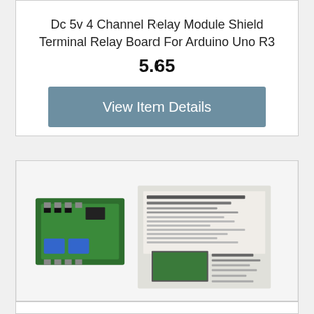Dc 5v 4 Channel Relay Module Shield Terminal Relay Board For Arduino Uno R3
5.65
View Item Details
[Figure (photo): Product photo showing a green 4-channel relay PCB board next to its packaging/manual on a white background.]